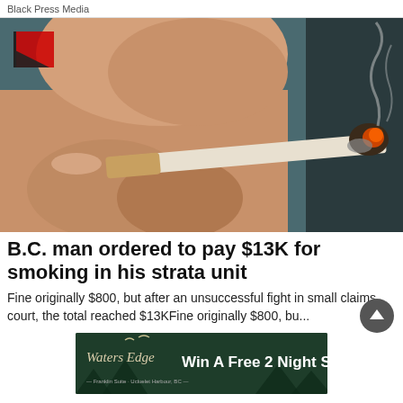Black Press Media
[Figure (photo): Close-up photograph of a person's hand holding a lit cigarette with smoke rising from the burning end, against a dark background. A red and black logo is visible in the top-left corner.]
B.C. man ordered to pay $13K for smoking in his strata unit
Fine originally $800, but after an unsuccessful fight in small claims court, the total reached $13KFine originally $800, bu...
[Figure (infographic): Advertisement banner for Water's Edge resort: 'Win A Free 2 Night Stay' with decorative script logo on dark green background with tree silhouettes.]